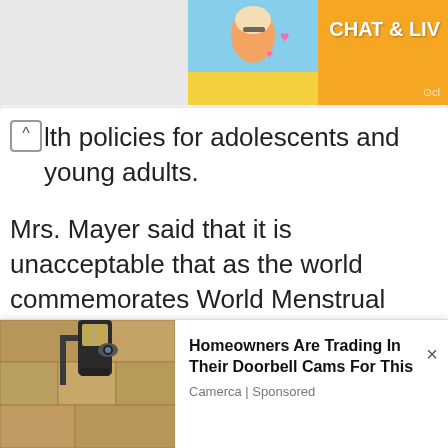[Figure (photo): Chat and live ad banner with woman in bikini on beach, orange background with CHAT & LIV text]
lth policies for adolescents and young adults.
Mrs. Mayer said that it is unacceptable that as the world commemorates World Menstrual Hygiene Day 2022 under the theme 'making menstruation a normal fact of life by 2030', over 40% of girls are
[Figure (photo): Advertisement: Homeowners Are Trading In Their Doorbell Cams For This - Camerca Sponsored, showing outdoor wall lamp]
Homeowners Are Trading In Their Doorbell Cams For This
Camerca | Sponsored